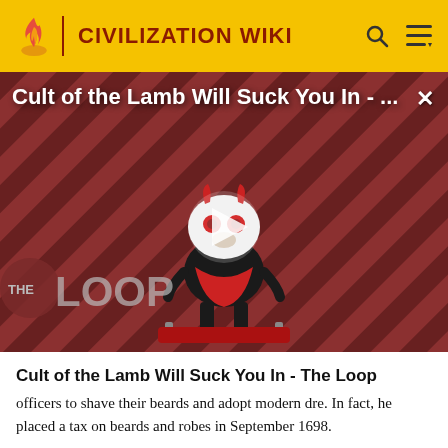CIVILIZATION WIKI
[Figure (screenshot): Video thumbnail for 'Cult of the Lamb Will Suck You In - The Loop' showing a cartoon lamb character with red eyes on a diagonal red and black striped background with 'THE LOOP' logo overlay and a play button in the center]
Cult of the Lamb Will Suck You In - The Loop
officers to shave their beards and adopt modern dre. In fact, he placed a tax on beards and robes in September 1698.